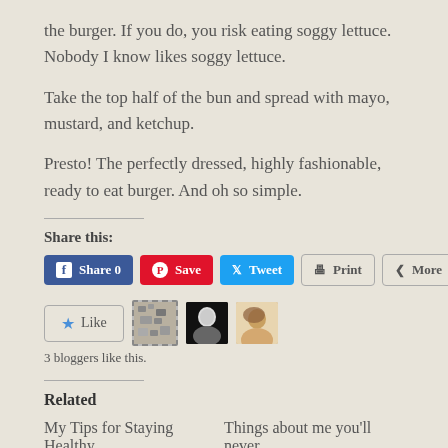the burger. If you do, you risk eating soggy lettuce. Nobody I know likes soggy lettuce.
Take the top half of the bun and spread with mayo, mustard, and ketchup.
Presto! The perfectly dressed, highly fashionable, ready to eat burger. And oh so simple.
Share this:
[Figure (screenshot): Social sharing buttons: Facebook Share 0, Pinterest Save, Twitter Tweet, Print, More]
[Figure (screenshot): Like button with star icon, and 3 blogger avatars]
3 bloggers like this.
Related
My Tips for Staying Healthy    Things about me you'll never